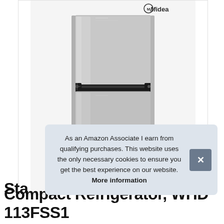[Figure (photo): Midea compact refrigerator with top freezer compartment, stainless steel look finish, two-door design with black handle bar separating freezer and fridge sections. Midea logo visible in top right corner of the image.]
As an Amazon Associate I earn from qualifying purchases. This website uses the only necessary cookies to ensure you get the best experience on our website. More information
Sta
Compact Refrigerator, WHD 113FSS1